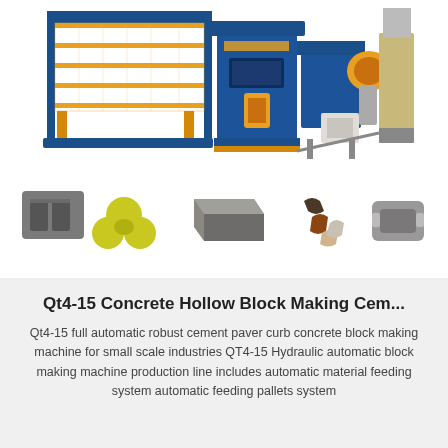[Figure (photo): Large industrial concrete block making machine with blue frame, orange scaffolding/stacking unit on left, central hydraulic press unit, and mixer/conveyor components on the right]
[Figure (photo): Row of five concrete block/paver product samples: a grey hollow block, a yellow trefoil paver, a grey brick, a set of colorful S-shaped interlocking pavers, and a grey curved block]
Qt4-15 Concrete Hollow Block Making Cem...
Qt4-15 full automatic robust cement paver curb concrete block making machine for small scale industries QT4-15 Hydraulic automatic block making machine production line includes automatic material feeding system automatic feeding pallets system